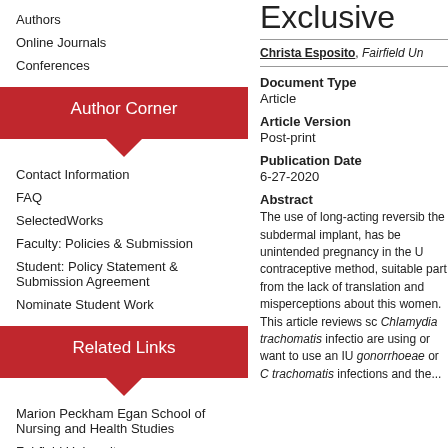Authors
Online Journals
Conferences
Author Corner
Contact Information
FAQ
SelectedWorks
Faculty: Policies & Submission
Student: Policy Statement & Submission Agreement
Nominate Student Work
Related Links
Marion Peckham Egan School of Nursing and Health Studies
Fairfield University
DiMenna-Nyselius Library
Exclusive
Christa Esposito, Fairfield Un
Document Type
Article
Article Version
Post-print
Publication Date
6-27-2020
Abstract
The use of long-acting reversib the subdermal implant, has be unintended pregnancy in the U contraceptive method, suitable part from the lack of translation and misperceptions about this women. This article reviews sc Chlamydia trachomatis infectio are using or want to use an IU gonorrhoeae or C trachomatis infections and the...